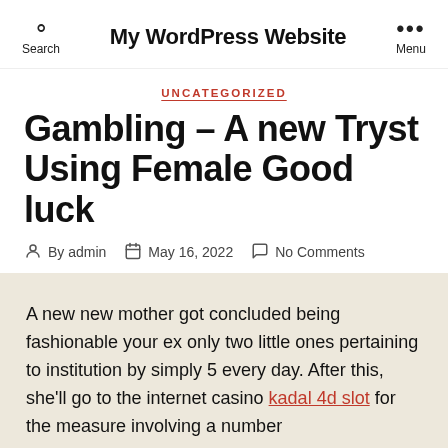My WordPress Website
UNCATEGORIZED
Gambling – A new Tryst Using Female Good luck
By admin   May 16, 2022   No Comments
A new new mother got concluded being fashionable your ex only two little ones pertaining to institution by simply 5 every day. After this, she'll go to the internet casino kadal 4d slot for the measure involving a number